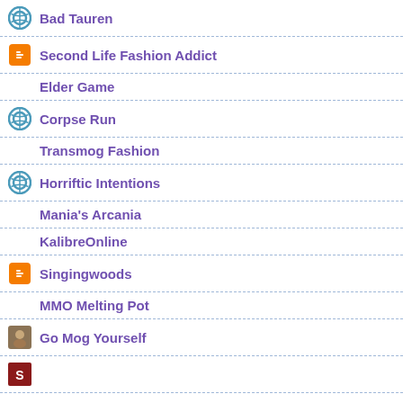Bad Tauren
Second Life Fashion Addict
Elder Game
Corpse Run
Transmog Fashion
Horriftic Intentions
Mania's Arcania
KalibreOnline
Singingwoods
MMO Melting Pot
Go Mog Yourself
Shy at WoW
The Bloody Stump
Casual Is As Casual Does